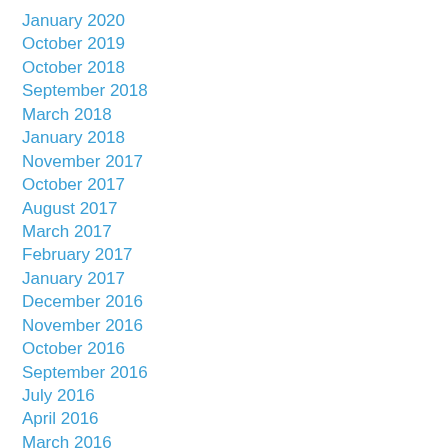January 2020
October 2019
October 2018
September 2018
March 2018
January 2018
November 2017
October 2017
August 2017
March 2017
February 2017
January 2017
December 2016
November 2016
October 2016
September 2016
July 2016
April 2016
March 2016
February 2016
January 2016